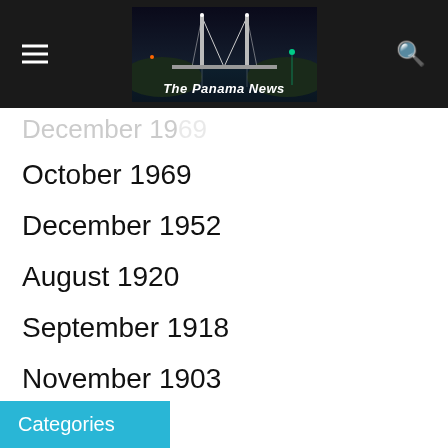The Panama News
December 1969 (partial/cut off)
October 1969
December 1952
August 1920
September 1918
November 1903
July 1776
December 1702
January 1520
October 1066
March 33
Categories